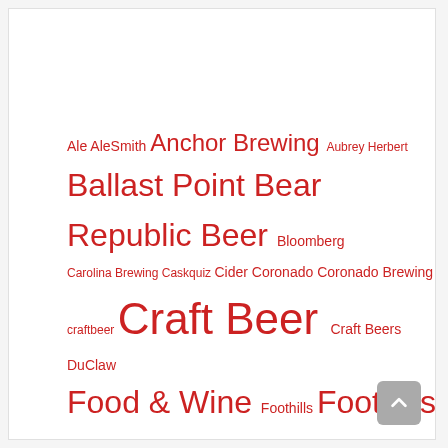[Figure (infographic): A tag cloud of beer and media related terms in various font sizes, all in red on white background. Terms include: Ale, AleSmith, Anchor Brewing, Aubrey Herbert, Ballast Point, Bear Republic, Beer, Bloomberg, Carolina Brewing, Caskquiz, Cider, Coronado, Coronado Brewing, craftbeer, Craft Beer, Craft Beers, DuClaw, Food & Wine, Foothills, Foothills Brewing, Forbes, Fortune, Holiday, Holidays, hops, IPA, Lagunitas, MegaMergerMania, North Carolina, Oktoberfest, Olde Hickory, Pale Ale, Podcast, Rodenbach, Saison, Sam Adams, Samuel Adams, Sierra Nevada, sours, Stout, The Motley Fool, The New York Times, USA Today, VinePair, Wicked Weed]